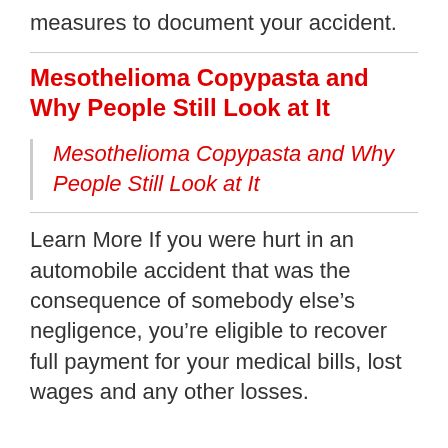measures to document your accident.
Mesothelioma Copypasta and Why People Still Look at It
Mesothelioma Copypasta and Why People Still Look at It
Learn More If you were hurt in an automobile accident that was the consequence of somebody else’s negligence, you’re eligible to recover full payment for your medical bills, lost wages and any other losses.